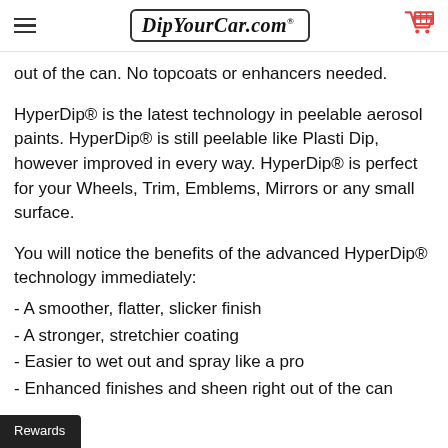DipYourCar.com
out of the can. No topcoats or enhancers needed.
HyperDip® is the latest technology in peelable aerosol paints. HyperDip® is still peelable like Plasti Dip, however improved in every way. HyperDip® is perfect for your Wheels, Trim, Emblems, Mirrors or any small surface.
You will notice the benefits of the advanced HyperDip® technology immediately:
- A smoother, flatter, slicker finish
- A stronger, stretchier coating
- Easier to wet out and spray like a pro
- Enhanced finishes and sheen right out of the can